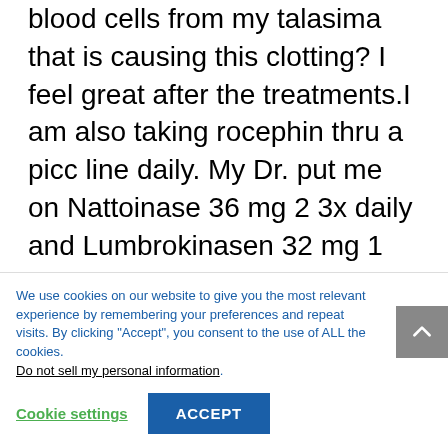blood cells from my talasima that is causing this clotting? I feel great after the treatments.I am also taking rocephin thru a picc line daily. My Dr. put me on Nattoinase 36 mg 2 3x daily and Lumbrokinasen 32 mg 1 2x daily...
We use cookies on our website to give you the most relevant experience by remembering your preferences and repeat visits. By clicking "Accept", you consent to the use of ALL the cookies. Do not sell my personal information.